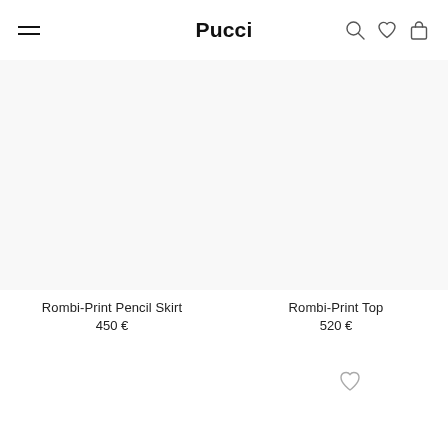Pucci
Rombi-Print Pencil Skirt
450 €
Rombi-Print Top
520 €